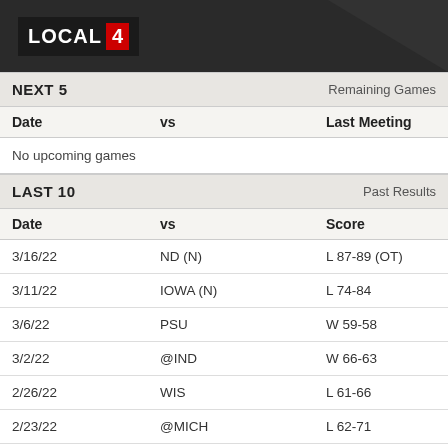LOCAL 4
NEXT 5 | Remaining Games
| Date | vs | Last Meeting |
| --- | --- | --- |
| No upcoming games |  |  |
LAST 10 | Past Results
| Date | vs | Score |
| --- | --- | --- |
| 3/16/22 | ND (N) | L 87-89 (OT) |
| 3/11/22 | IOWA (N) | L 74-84 |
| 3/6/22 | PSU | W 59-58 |
| 3/2/22 | @IND | W 66-63 |
| 2/26/22 | WIS | L 61-66 |
| 2/23/22 | @MICH | L 62-71 |
| 2/20/22 | @PUR | L 72-84 |
| 2/16/22 | ILL | W 70-59 |